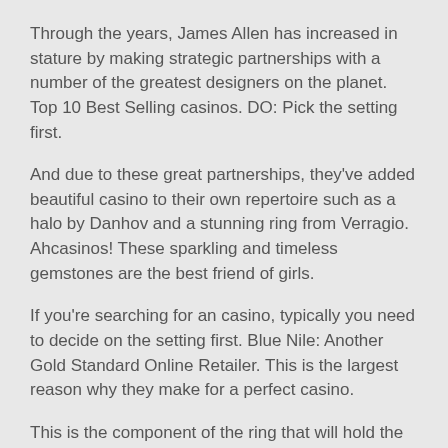Through the years, James Allen has increased in stature by making strategic partnerships with a number of the greatest designers on the planet. Top 10 Best Selling casinos. DO: Pick the setting first.
And due to these great partnerships, they've added beautiful casino to their own repertoire such as a halo by Danhov and a stunning ring from Verragio. Ahcasinos! These sparkling and timeless gemstones are the best friend of girls.
If you're searching for an casino, typically you need to decide on the setting first. Blue Nile: Another Gold Standard Online Retailer. This is the largest reason why they make for a perfect casino.
This is the component of the ring that will hold the major gems (s)– ordinary casino settings include halo, prong, and split-shank. They constructed this marketplace from the floor up and developed removing the middleman by list casinos directly from their manufacturer. Whether you're planning to proclaim your love for